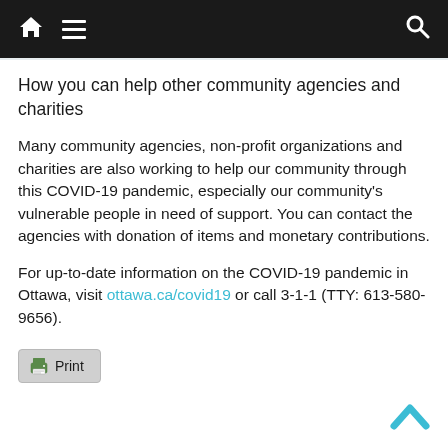Navigation bar with home, menu, and search icons
How you can help other community agencies and charities
Many community agencies, non-profit organizations and charities are also working to help our community through this COVID-19 pandemic, especially our community's vulnerable people in need of support. You can contact the agencies with donation of items and monetary contributions.
For up-to-date information on the COVID-19 pandemic in Ottawa, visit ottawa.ca/covid19 or call 3-1-1 (TTY: 613-580-9656).
[Figure (other): Print button with printer icon]